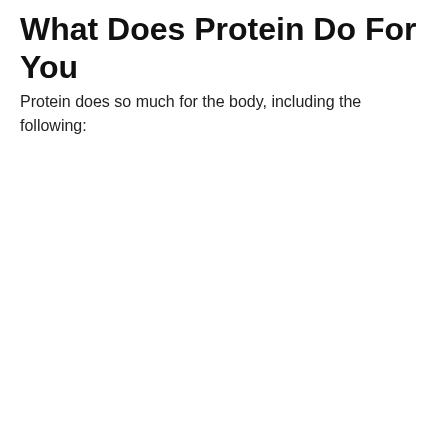What Does Protein Do For You
Protein does so much for the body, including the following: